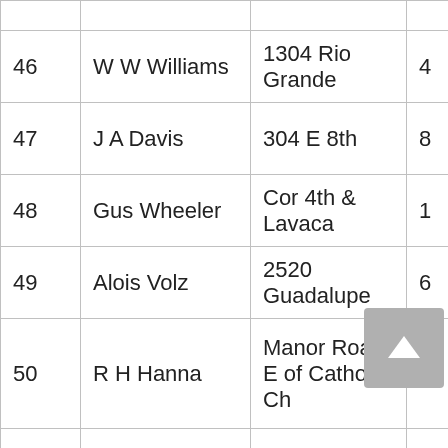|  |  |  |  |  |
| --- | --- | --- | --- | --- |
| 46 | W W Williams | 1304 Rio Grande | 4 | W |
| 47 | J A Davis | 304 E 8th | 8 | W |
| 48 | Gus Wheeler | Cor 4th & Lavaca | 1 | W |
| 49 | Alois Volz | 2520 Guadalupe | 6 | W |
| 50 | R H Hanna | Manor Road E of Catholic Ch | 7 | W |
| 51 | Jno W Phillips | 303 E 10th | 8 | W |
| 52 | Henry Hirshfeld | Cor Lavaca & 9th | 3 | W |
| 53 | George Adams | 2623 28th & Rio | 6 | W |